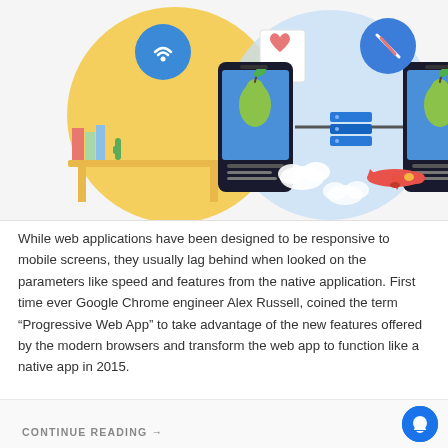[Figure (illustration): Illustration showing two smartphones with a pear app displayed on their screens, connected via a router/server box in the middle. The left phone is in a yellow circle with a WiFi icon, bookshelf, and desk scene. The right phone is in a light blue circle with clouds, an airplane, and a compass/no-signal icon. The phones are connected by cables to a blue stacked-box router in the center.]
While web applications have been designed to be responsive to mobile screens, they usually lag behind when looked on the parameters like speed and features from the native application. First time ever Google Chrome engineer Alex Russell, coined the term “Progressive Web App” to take advantage of the new features offered by the modern browsers and transform the web app to function like a native app in 2015.
CONTINUE READING →